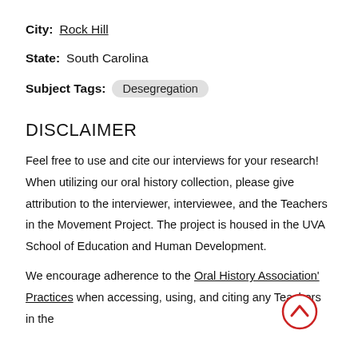City: Rock Hill
State: South Carolina
Subject Tags: Desegregation
DISCLAIMER
Feel free to use and cite our interviews for your research! When utilizing our oral history collection, please give attribution to the interviewer, interviewee, and the Teachers in the Movement Project. The project is housed in the UVA School of Education and Human Development.
We encourage adherence to the Oral History Association's Practices when accessing, using, and citing any Teachers in the